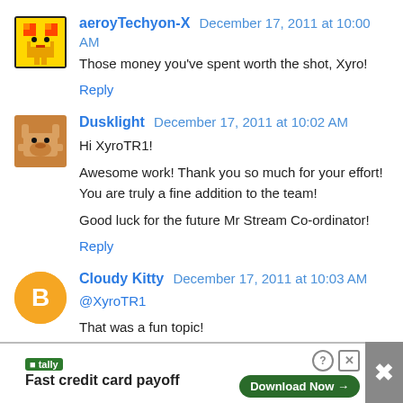aeroyTechyon-X December 17, 2011 at 10:00 AM
Those money you've spent worth the shot, Xyro!
Reply
Dusklight December 17, 2011 at 10:02 AM
Hi XyroTR1!

Awesome work! Thank you so much for your effort! You are truly a fine addition to the team!

Good luck for the future Mr Stream Co-ordinator!
Reply
Cloudy Kitty December 17, 2011 at 10:03 AM
@XyroTR1
That was a fun topic!
[Figure (infographic): Advertisement bar: tally logo, Fast credit card payoff, Download Now button, close icons]